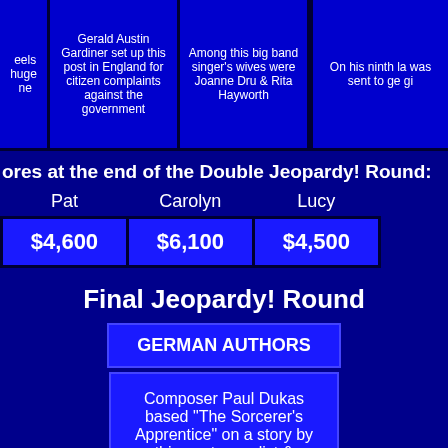[Figure (other): Top row of Jeopardy! game board clue cells, partially visible, showing three full cells and two partial cells]
ores at the end of the Double Jeopardy! Round:
| Pat | Carolyn | Lucy |
| --- | --- | --- |
| $4,600 | $6,100 | $4,500 |
Final Jeopardy! Round
GERMAN AUTHORS
Composer Paul Dukas based "The Sorcerer's Apprentice" on a story by this poet, novelist & scientist